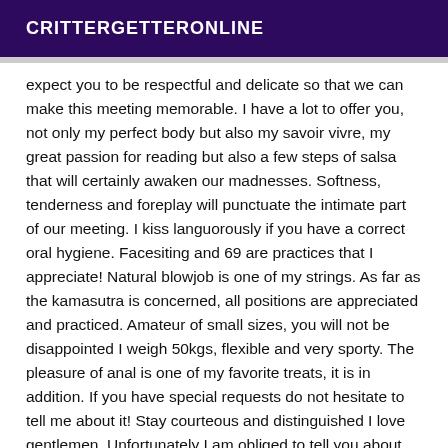CRITTERGETTERONLINE
expect you to be respectful and delicate so that we can make this meeting memorable. I have a lot to offer you, not only my perfect body but also my savoir vivre, my great passion for reading but also a few steps of salsa that will certainly awaken our madnesses. Softness, tenderness and foreplay will punctuate the intimate part of our meeting. I kiss languorously if you have a correct oral hygiene. Facesiting and 69 are practices that I appreciate! Natural blowjob is one of my strings. As far as the kamasutra is concerned, all positions are appreciated and practiced. Amateur of small sizes, you will not be disappointed I weigh 50kgs, flexible and very sporty. The pleasure of anal is one of my favorite treats, it is in addition. If you have special requests do not hesitate to tell me about it! Stay courteous and distinguished I love gentlemen. Unfortunately I am obliged to tell you about things that annoy you so that